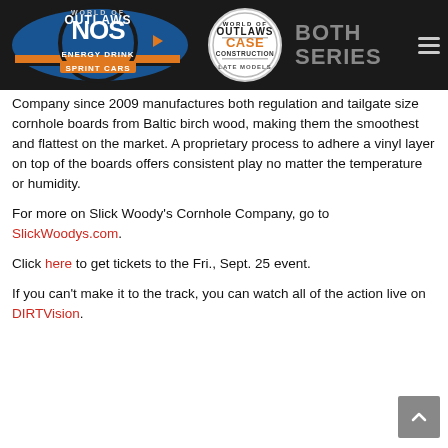World of Outlaws NOS Energy Drink Sprint Cars | World of Outlaws CASE Construction Late Models | BOTH SERIES
Company since 2009 manufactures both regulation and tailgate size cornhole boards from Baltic birch wood, making them the smoothest and flattest on the market. A proprietary process to adhere a vinyl layer on top of the boards offers consistent play no matter the temperature or humidity.
For more on Slick Woody’s Cornhole Company, go to SlickWoodys.com.
Click here to get tickets to the Fri., Sept. 25 event.
If you can’t make it to the track, you can watch all of the action live on DIRTVision.